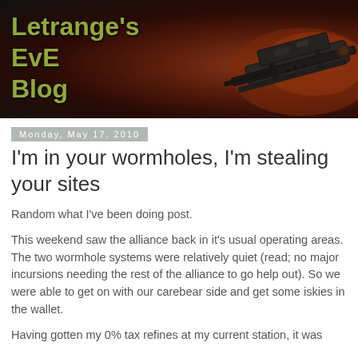[Figure (illustration): Blog header banner with dark background, spaceship/spacecraft image on right side, and blog title 'Letrange's EvE Blog' in olive green text on left]
Monday, May 17, 2010
I'm in your wormholes, I'm stealing your sites
Random what I've been doing post.
This weekend saw the alliance back in it's usual operating areas. The two wormhole systems were relatively quiet (read; no major incursions needing the rest of the alliance to go help out). So we were able to get on with our carebear side and get some iskies in the wallet.
Having gotten my 0% tax refines at my current station, it was